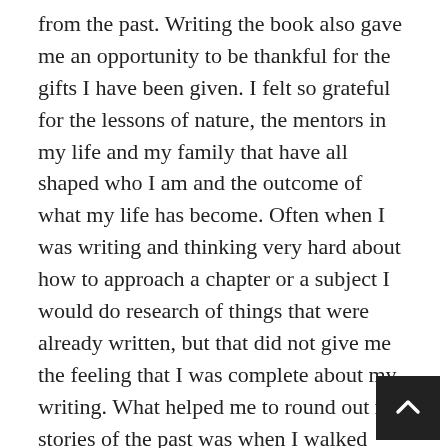from the past. Writing the book also gave me an opportunity to be thankful for the gifts I have been given. I felt so grateful for the lessons of nature, the mentors in my life and my family that have all shaped who I am and the outcome of what my life has become. Often when I was writing and thinking very hard about how to approach a chapter or a subject I would do research of things that were already written, but that did not give me the feeling that I was complete about my writing. What helped me to round out my stories of the past was when I walked outside and interacted with nature, or sat down and had a conversation about the subject with my husband, children or friends. One time I was writing a story about a coyote and I walked out my front door and a coyote was standing up